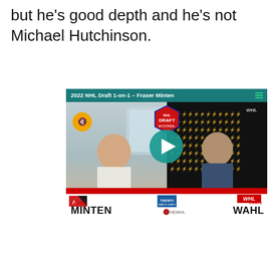but he's good depth and he's not Michael Hutchinson.
[Figure (screenshot): Video thumbnail for '2022 NHL Draft 1-on-1 – Fraser Minten' showing a split-screen interview: Fraser Minten on the left in a room, Chris Wahl on the right with WHL branded background. Teal header bar, play button in center, mute button top left, NHL Draft badge top center, names labeled at bottom.]